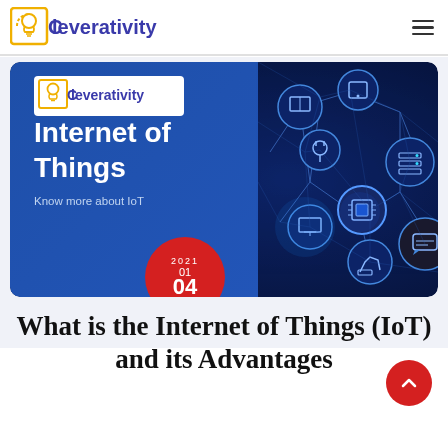Cleverativity [logo] — hamburger menu
[Figure (illustration): Hero banner for Internet of Things article. Left side: blue gradient panel with Cleverativity logo (white box), large white bold text 'Internet of Things', smaller text 'Know more about IoT'. Right side: dark blue background with glowing IoT network diagram showing interconnected circles with tech icons (tablet, book, server, plug, chip, laptop, robotic arm, chat, cyclist). Overlaid: red circle date badge showing '2021 / 01 / 04'.]
What is the Internet of Things (IoT) and its Advantages